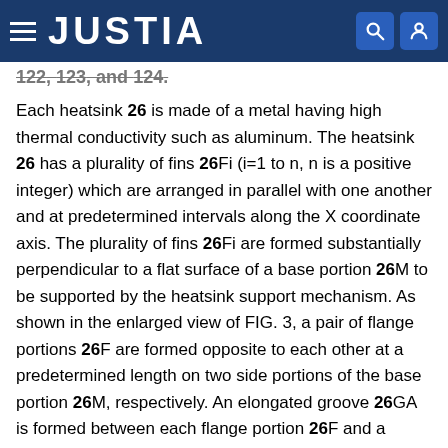JUSTIA
122, 123, and 124.
Each heatsink 26 is made of a metal having high thermal conductivity such as aluminum. The heatsink 26 has a plurality of fins 26Fi (i=1 to n, n is a positive integer) which are arranged in parallel with one another and at predetermined intervals along the X coordinate axis. The plurality of fins 26Fi are formed substantially perpendicular to a flat surface of a base portion 26M to be supported by the heatsink support mechanism. As shown in the enlarged view of FIG. 3, a pair of flange portions 26F are formed opposite to each other at a predetermined length on two side portions of the base portion 26M, respectively. An elongated groove 26GA is formed between each flange portion 26F and a junction where lower end portions of the plurality of fins 26Fi are joined together. The elongated groove 26GA is slidably engaged with a flexural piece 126S2 and three pressing